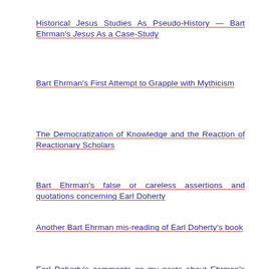Historical Jesus Studies As Pseudo-History — Bart Ehrman's Jesus As a Case-Study
Bart Ehrman's First Attempt to Grapple with Mythicism
The Democratization of Knowledge and the Reaction of Reactionary Scholars
Bart Ehrman's false or careless assertions and quotations concerning Earl Doherty
Another Bart Ehrman mis-reading of Earl Doherty's book
Earl Doherty's comments on my posts about Ehrman's treatment of his book